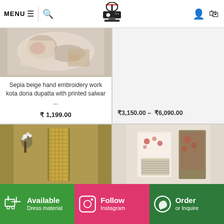MENU | [search icon] [sewing machine logo] [user icon] [cart icon]
[Figure (photo): Sepia beige hand embroidery work kota doria dupatta with printed salwar - product image (top-left)]
Sepia beige hand embroidery work kota doria dupatta with printed salwar ...
₹ 1,199.00
₹3,150.00 – ₹6,090.00
[Figure (photo): Bottom-left product: olive/mustard woven fabric dupatta with dried flower arrangement]
[Figure (photo): Bottom-right product: floral block print salwar kameez fabric set]
Available
Dress material
Follow
Instagram
Order
or Inquire